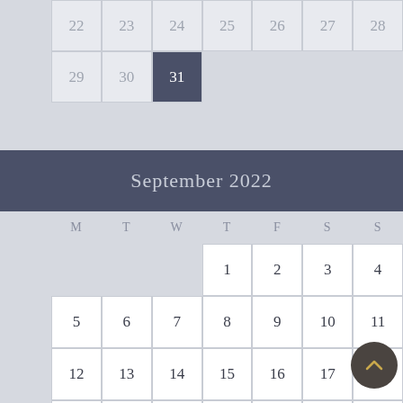[Figure (other): Partial calendar showing end of August 2022 with dates 22-31, where 31 is highlighted/selected in dark blue]
September 2022
| M | T | W | T | F | S | S |
| --- | --- | --- | --- | --- | --- | --- |
|  |  |  | 1 | 2 | 3 | 4 |
| 5 | 6 | 7 | 8 | 9 | 10 | 11 |
| 12 | 13 | 14 | 15 | 16 | 17 | 18 |
| 19 | 20 | 21 | 22 | 23 | 24 | 25 |
| 26 | 27 | 28 | 29 | 30 |  |  |